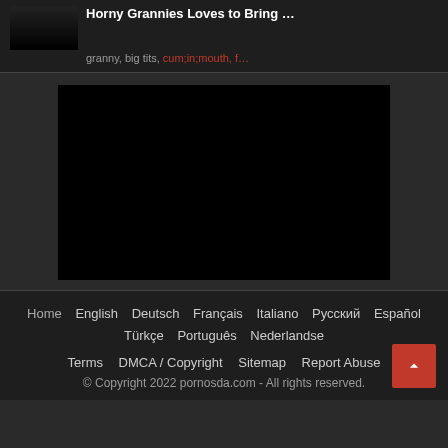Horny Grannies Loves to Bring …
granny, big tits, cum;in;mouth, f…
[Figure (other): Black video player area]
Home  English  Deutsch  Français  Italiano  Русский  Español  Türkçe  Português  Nederlandse
Terms  DMCA / Copyright  Sitemap  Report Abuse
© Copyright 2022 pornosda.com - All rights reserved.